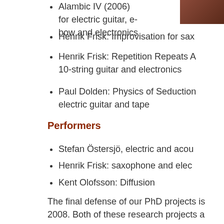Alambic IV (2006) for electric guitar, e-bow and electronics
Henrik Frisk: Improvisation for sax
Henrik Frisk: Repetition Repeats A 10-string guitar and electronics
Paul Dolden: Physics of Seduction electric guitar and tape
Performers
Stefan Östersjö, electric and acou
Henrik Frisk: saxophone and elec
Kent Olofsson: Diffusion
The final defense of our PhD projects is 2008. Both of these research projects a Academy of Music, Lund University. She material that will be discussed in the se mail AT henrikfrisk DOT com or pick up information deskt at Malmö Academy of